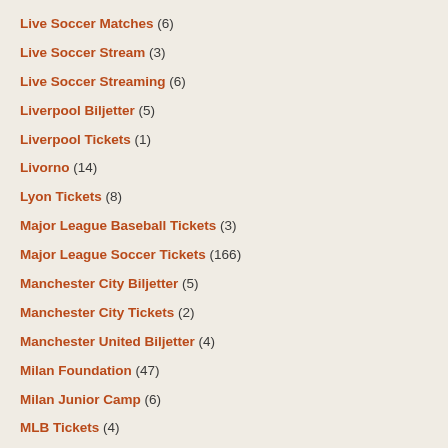Live Soccer Matches (6)
Live Soccer Stream (3)
Live Soccer Streaming (6)
Liverpool Biljetter (5)
Liverpool Tickets (1)
Livorno (14)
Lyon Tickets (8)
Major League Baseball Tickets (3)
Major League Soccer Tickets (166)
Manchester City Biljetter (5)
Manchester City Tickets (2)
Manchester United Biljetter (4)
Milan Foundation (47)
Milan Junior Camp (6)
MLB Tickets (4)